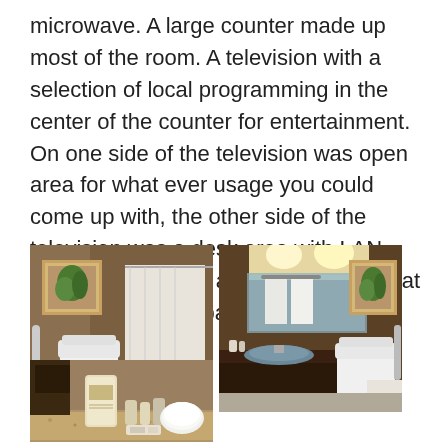microwave. A large counter made up most of the room. A television with a selection of local programming in the center of the counter for entertainment. On one side of the television was open area for what ever usage you could come up with, the other side of the television was a desk area with LAN ports, a desk lamp and a desk chair that was comfortable. balkin
[Figure (photo): Hotel bathroom showing toilet and bathtub with shower curtain against brown wall, framed green artwork above]
[Figure (photo): Hotel bathroom showing sink/vanity area with mirrors and bright lights, toilet, and framed green artwork on brown wall]
[Figure (photo): Hotel bathroom amenities and toiletries arranged on granite countertop]